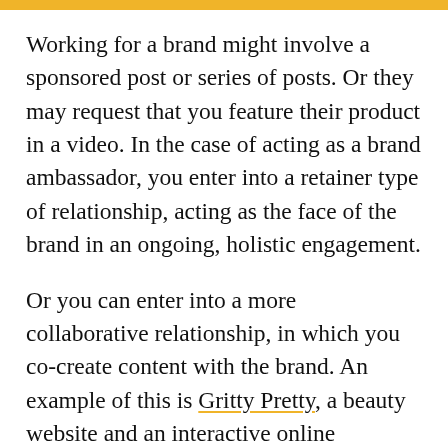Working for a brand might involve a sponsored post or series of posts. Or they may request that you feature their product in a video. In the case of acting as a brand ambassador, you enter into a retainer type of relationship, acting as the face of the brand in an ongoing, holistic engagement.
Or you can enter into a more collaborative relationship, in which you co-create content with the brand. An example of this is Gritty Pretty, a beauty website and an interactive online magazine by beauty advisor Eleanor Pendleton. Eleanor's team collaborates with brands in creating sponsored content, editorials,